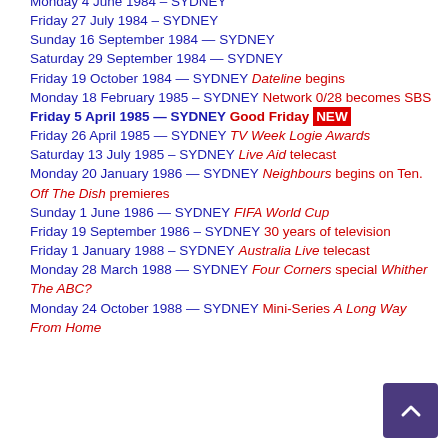Monday 4 June 1984 – SYDNEY
Friday 27 July 1984 – SYDNEY
Sunday 16 September 1984 — SYDNEY
Saturday 29 September 1984 — SYDNEY
Friday 19 October 1984 — SYDNEY  Dateline begins
Monday 18 February 1985 – SYDNEY  Network 0/28 becomes SBS
Friday 5 April 1985 — SYDNEY  Good Friday NEW
Friday 26 April 1985 — SYDNEY  TV Week Logie Awards
Saturday 13 July 1985 – SYDNEY  Live Aid telecast
Monday 20 January 1986 — SYDNEY  Neighbours begins on Ten. Off The Dish premieres
Sunday 1 June 1986 — SYDNEY  FIFA World Cup
Friday 19 September 1986 – SYDNEY  30 years of television
Friday 1 January 1988 – SYDNEY  Australia Live telecast
Monday 28 March 1988 — SYDNEY  Four Corners special Whither The ABC?
Monday 24 October 1988 — SYDNEY  Mini-Series A Long Way From Home